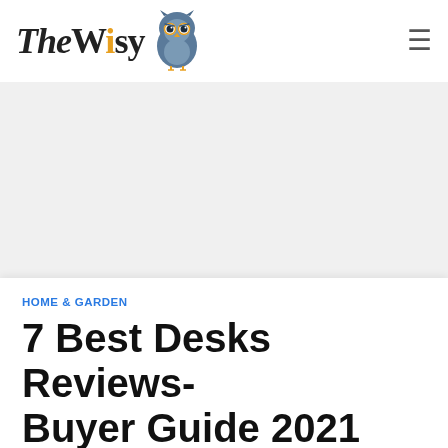TheWisy (logo with owl icon) — navigation header
[Figure (other): Advertisement/banner area, light gray background]
HOME & GARDEN
7 Best Desks Reviews- Buyer Guide 2021